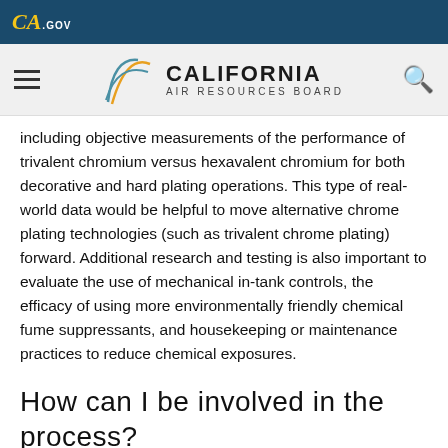CA.GOV
CALIFORNIA AIR RESOURCES BOARD
including objective measurements of the performance of trivalent chromium versus hexavalent chromium for both decorative and hard plating operations. This type of real-world data would be helpful to move alternative chrome plating technologies (such as trivalent chrome plating) forward. Additional research and testing is also important to evaluate the use of mechanical in-tank controls, the efficacy of using more environmentally friendly chemical fume suppressants, and housekeeping or maintenance practices to reduce chemical exposures.
How can I be involved in the process?
The Chrome Plating ATCM amendments will be developed